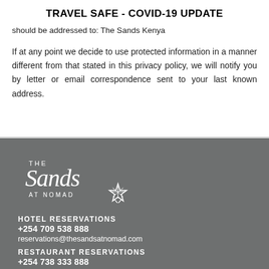TRAVEL SAFE - COVID-19 UPDATE
should be addressed to: The Sands Kenya
If at any point we decide to use protected information in a manner different from that stated in this privacy policy, we will notify you by letter or email correspondence sent to your last known address.
[Figure (logo): The Sands at Nomad logo in white on grey background, with stylized script text and starfish icon]
HOTEL RESERVATIONS
+254 709 538 888
reservations@thesandsatnomad.com
RESTAURANT RESERVATIONS
+254 738 333 888